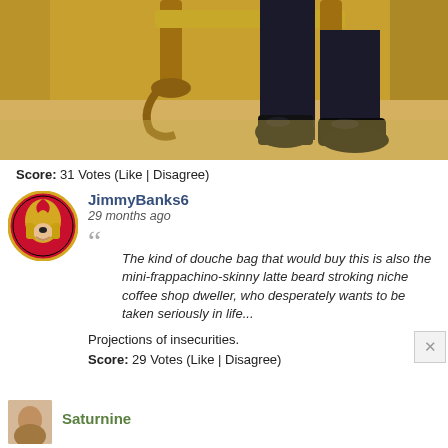[Figure (photo): Photo showing legs of a person in dark suit and black shoes seated on/near an ornate gold decorative table, wooden floor background]
Score: 31 Votes (Like | Disagree)
[Figure (logo): Ottawa Senators NHL team logo - warrior head with red and gold helmet]
JimmyBanks6
29 months ago
"“The kind of douche bag that would buy this is also the mini-frappachino-skinny latte beard stroking niche coffee shop dweller, who desperately wants to be taken seriously in life...

Projections of insecurities.

Score: 29 Votes (Like | Disagree)
Saturnine